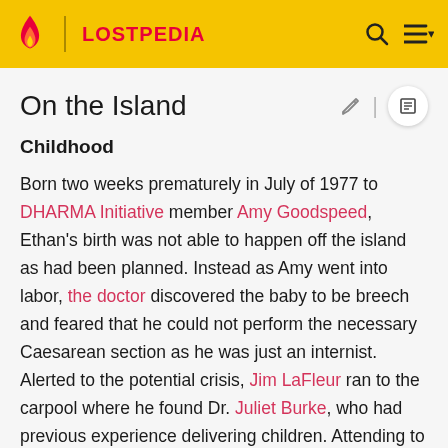LOSTPEDIA
On the Island
Childhood
Born two weeks prematurely in July of 1977 to DHARMA Initiative member Amy Goodspeed, Ethan's birth was not able to happen off the island as had been planned. Instead as Amy went into labor, the doctor discovered the baby to be breech and feared that he could not perform the necessary Caesarean section as he was just an internist. Alerted to the potential crisis, Jim LaFleur ran to the carpool where he found Dr. Juliet Burke, who had previous experience delivering children. Attending to Amy, Juliet was successful in delivering the baby to the